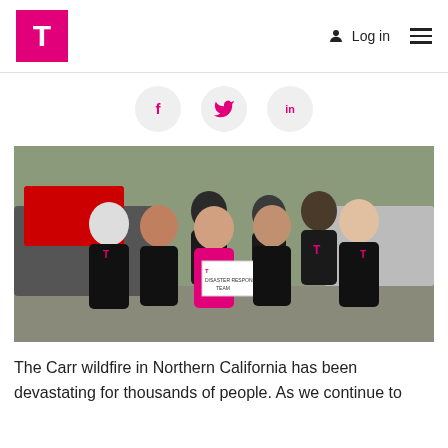T-Mobile logo, Log in, menu
[Figure (logo): T-Mobile magenta T logo in pink square]
[Figure (infographic): Social sharing icons: Facebook (f), Twitter (bird), LinkedIn (in) in grey circles]
[Figure (photo): Group of T-Mobile employees wearing black T-Mobile shirts posing together outdoors near vehicles. One employee holds a sign reading 'DISASTER RESPONSE TEAM'. One employee wears a pink shirt.]
The Carr wildfire in Northern California has been devastating for thousands of people. As we continue to